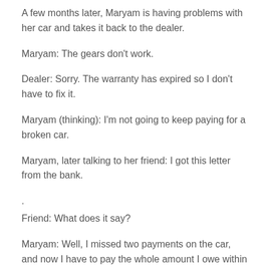A few months later, Maryam is having problems with her car and takes it back to the dealer.
Maryam: The gears don't work.
Dealer: Sorry. The warranty has expired so I don't have to fix it.
Maryam (thinking): I'm not going to keep paying for a broken car.
Maryam, later talking to her friend: I got this letter from the bank.
.
Friend: What does it say?
Maryam: Well, I missed two payments on the car, and now I have to pay the whole amount I owe within 28 days.